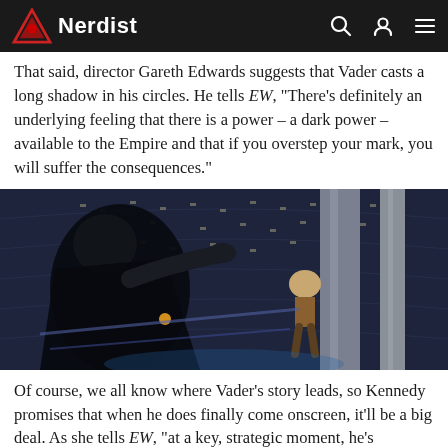Nerdist
That said, director Gareth Edwards suggests that Vader casts a long shadow in his circles. He tells EW, “There’s definitely an underlying feeling that there is a power – a dark power – available to the Empire and that if you overstep your mark, you will suffer the consequences.”
[Figure (photo): Scene from Star Wars: The Empire Strikes Back showing Darth Vader in dark armor reaching toward a character hanging near industrial pipes/machinery in a large circular chamber]
Of course, we all know where Vader’s story leads, so Kennedy promises that when he does finally come onscreen, it’ll be a big deal. As she tells EW, “at a key, strategic moment, he’s